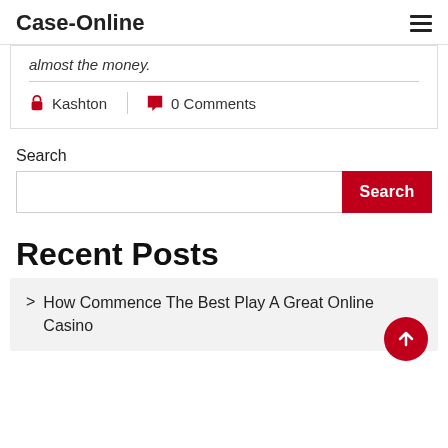Case-Online
almost the money.
Kashton   0 Comments
Search
Recent Posts
How Commence The Best Play A Great Online Casino